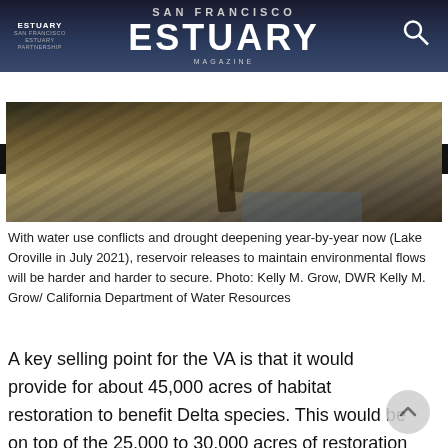ESTUARY MAGAZINE
[Figure (photo): Aerial photograph of Lake Oroville area showing dry, eroded landscape with sparse vegetation and a narrow water channel, taken in July 2021 during drought conditions.]
With water use conflicts and drought deepening year-by-year now (Lake Oroville in July 2021), reservoir releases to maintain environmental flows will be harder and harder to secure. Photo: Kelly M. Grow, DWR Kelly M. Grow/ California Department of Water Resources
A key selling point for the VA is that it would provide for about 45,000 acres of habitat restoration to benefit Delta species. This would be on top of the 25,000 to 30,000 acres of restoration already required as mitigation for the state and federal water projects, California Department of Fish and Wildlife director Chuck Bonham, who calls the water commitments in